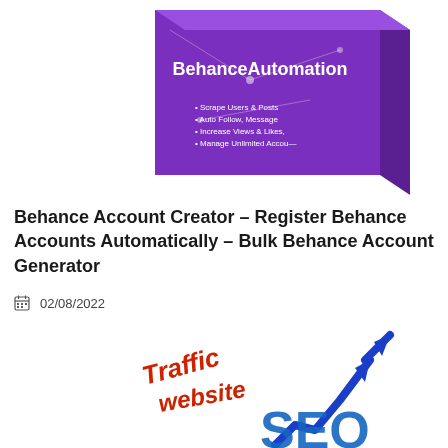[Figure (illustration): Product box image for 'BehanceAutomation' software with purple/violet design showing bullet points: Scrape Users & Posts, Auto Follow, Message, Increase Views & Likes, Manage Unlimited Accounts]
Behance Account Creator – Register Behance Accounts Automatically – Bulk Behance Account Generator
02/08/2022
[Figure (illustration): SEO traffic website illustration with a blue upward arrow and the text 'Traffic website' in red handwritten style, with large blue/teal 'SEO' letters at the bottom]